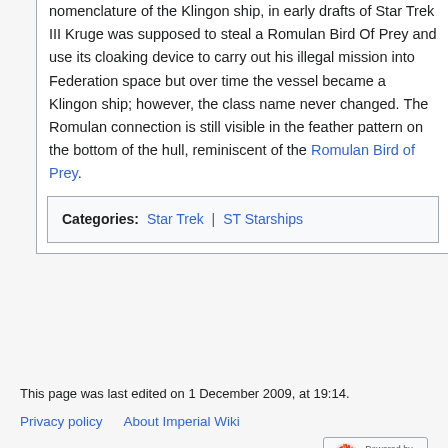nomenclature of the Klingon ship, in early drafts of Star Trek III Kruge was supposed to steal a Romulan Bird Of Prey and use its cloaking device to carry out his illegal mission into Federation space but over time the vessel became a Klingon ship; however, the class name never changed. The Romulan connection is still visible in the feather pattern on the bottom of the hull, reminiscent of the Romulan Bird of Prey.
Categories: Star Trek | ST Starships
This page was last edited on 1 December 2009, at 19:14.
Privacy policy  About Imperial Wiki
Disclaimers